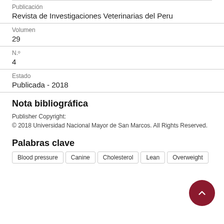Publicación
Revista de Investigaciones Veterinarias del Peru
Volumen
29
N.º
4
Estado
Publicada - 2018
Nota bibliográfica
Publisher Copyright:
© 2018 Universidad Nacional Mayor de San Marcos. All Rights Reserved.
Palabras clave
Blood pressure
Canine
Cholesterol
Lean
Overweight